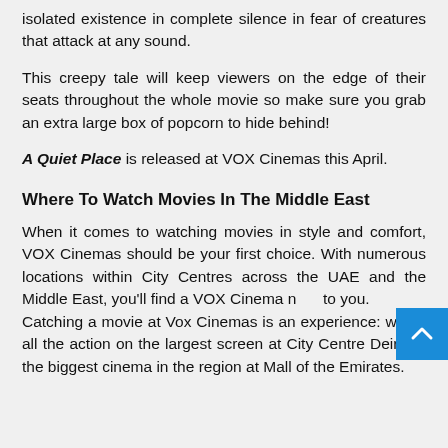isolated existence in complete silence in fear of creatures that attack at any sound.
This creepy tale will keep viewers on the edge of their seats throughout the whole movie so make sure you grab an extra large box of popcorn to hide behind!
A Quiet Place is released at VOX Cinemas this April.
Where To Watch Movies In The Middle East
When it comes to watching movies in style and comfort, VOX Cinemas should be your first choice. With numerous locations within City Centres across the UAE and the Middle East, you'll find a VOX Cinema near to you.
Catching a movie at Vox Cinemas is an experience: watch all the action on the largest screen at City Centre Deira or the biggest cinema in the region at Mall of the Emirates.